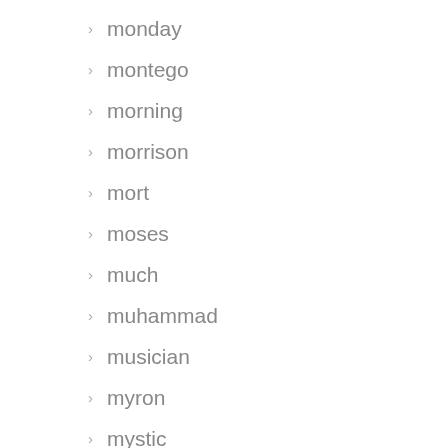monday
montego
morning
morrison
mort
moses
much
muhammad
musician
myron
mystic
mystikal
nate
neal
never